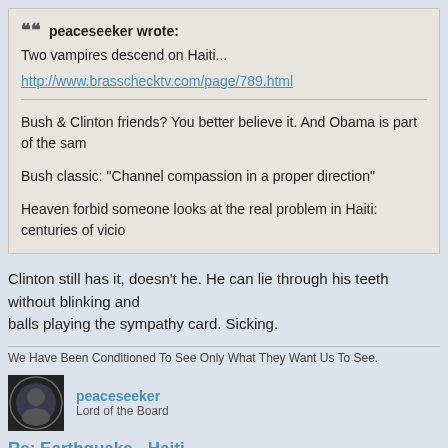peaceseeker wrote: Two vampires descend on Haiti... http://www.brasschecktv.com/page/789.html Bush & Clinton friends? You better believe it. And Obama is part of the sam... Bush classic: "Channel compassion in a proper direction" Heaven forbid someone looks at the real problem in Haiti: centuries of vicio...
Clinton still has it, doesn't he. He can lie through his teeth without blinking and... balls playing the sympathy card. Sicking.
We Have Been Conditioned To See Only What They Want Us To See.
peaceseeker
Lord of the Board
Re: Earthquake - Haiti
Jan 29th, 2010, 1:23 pm